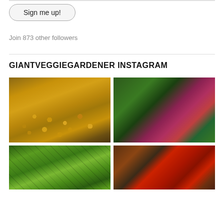Sign me up!
Join 873 other followers
GIANTVEGGIEGARDENER INSTAGRAM
[Figure (photo): Trays of small yellow-orange fruits/tomatoes spread across multiple black trays on a table indoors]
[Figure (photo): Close-up of a hand holding raspberries on the vine with green leaves in background]
[Figure (photo): Green leafy vines or grapevines viewed through a grid/trellis structure]
[Figure (photo): Red chili peppers arranged on a wooden surface with a blue container visible]